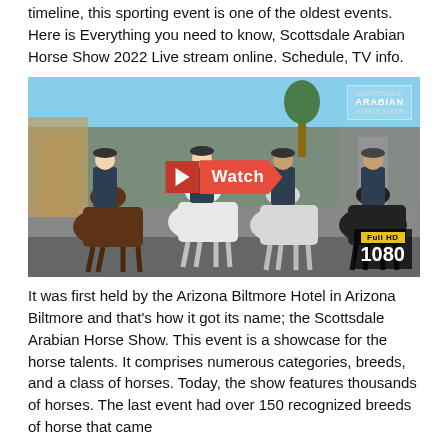timeline, this sporting event is one of the oldest events. Here is Everything you need to know, Scottsdale Arabian Horse Show 2022 Live stream online. Schedule, TV info.
[Figure (photo): Four police officers on horseback riding down a street, with a red 'Watch' arrow button overlay and Full HD 1080 badge. An Arabian horse show logo appears in the top right corner.]
It was first held by the Arizona Biltmore Hotel in Arizona Biltmore and that's how it got its name; the Scottsdale Arabian Horse Show. This event is a showcase for the horse talents. It comprises numerous categories, breeds, and a class of horses. Today, the show features thousands of horses. The last event had over 150 recognized breeds of horse that came